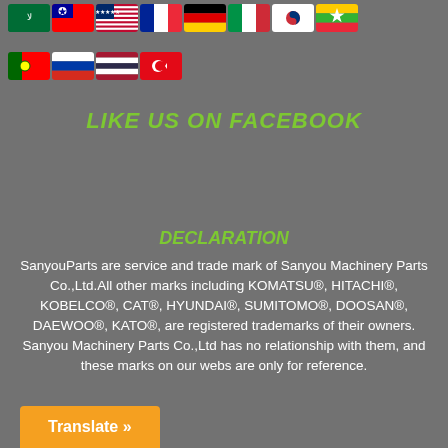[Figure (illustration): Row of 8 country flag icons: Saudi Arabia, Taiwan, USA, France, Germany, Italy, South Korea, Myanmar]
[Figure (illustration): Row of 4 country flag icons: Portugal, Russia, Thailand, Turkey]
LIKE US ON FACEBOOK
DECLARATION
SanyouParts are service and trade mark of Sanyou Machinery Parts Co.,Ltd.All other marks including KOMATSU®, HITACHI®, KOBELCO®, CAT®, HYUNDAI®, SUMITOMO®, DOOSAN®, DAEWOO®, KATO®, are registered trademarks of their owners. Sanyou Machinery Parts Co.,Ltd has no relationship with them, and these marks on our webs are only for reference.
Translate »